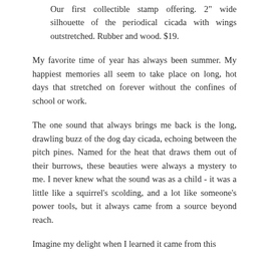Our first collectible stamp offering. 2" wide silhouette of the periodical cicada with wings outstretched. Rubber and wood. $19.
My favorite time of year has always been summer. My happiest memories all seem to take place on long, hot days that stretched on forever without the confines of school or work.
The one sound that always brings me back is the long, drawling buzz of the dog day cicada, echoing between the pitch pines. Named for the heat that draws them out of their burrows, these beauties were always a mystery to me. I never knew what the sound was as a child - it was a little like a squirrel's scolding, and a lot like someone's power tools, but it always came from a source beyond reach.
Imagine my delight when I learned it came from this